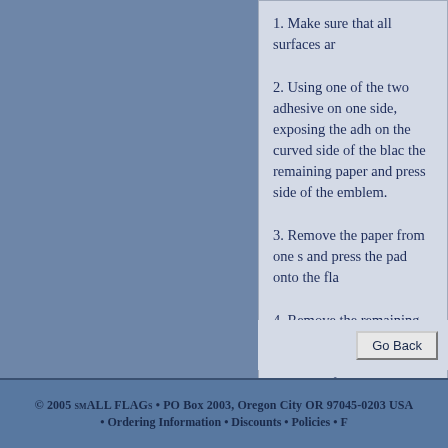1. Make sure that all surfaces ar...
2. Using one of the two adhesive on one side, exposing the adh on the curved side of the blac the remaining paper and press side of the emblem.
3. Remove the paper from one s and press the pad onto the fla
4. Remove the remaining protec place the emblem onto the de refrigerator, etc. Press firmly t
© 2005 smALL FLAGs • PO Box 2003, Oregon City OR 97045-0203 USA • Ordering Information • Discounts • Policies • F